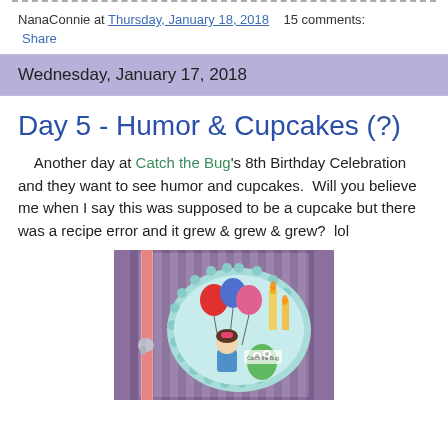NanaConnie at Thursday, January 18, 2018    15 comments:
Share
Wednesday, January 17, 2018
Day 5 - Humor & Cupcakes (?)
Another day at Catch the Bug's 8th Birthday Celebration and they want to see humor and cupcakes.  Will you believe me when I say this was supposed to be a cupcake but there was a recipe error and it grew & grew & grew?  lol
[Figure (photo): Handmade birthday greeting card featuring a girl with balloons, candles, and a green monster/creature, set against a purple striped background with a decorative teal scalloped oval frame and a pink glitter ribbon embellishment.]